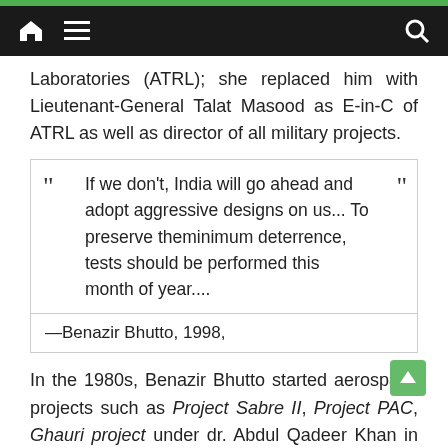Navigation bar with home, menu, and search icons
Laboratories (ATRL); she replaced him with Lieutenant-General Talat Masood as E-in-C of ATRL as well as director of all military projects.
| “ | If we don’t, India will go ahead and adopt aggressive designs on us... To preserve theminimum deterrence, tests should be performed this month of year.... | ” |
| —Benazir Bhutto, 1998, |  |  |
In the 1980s, Benazir Bhutto started aerospace projects such as Project Sabre II, Project PAC, Ghauri project under dr. Abdul Qadeer Khan in 1990 and the Shaheen programme in 1995 under dr. Samar Mubarakmand. The starting of the integrated space